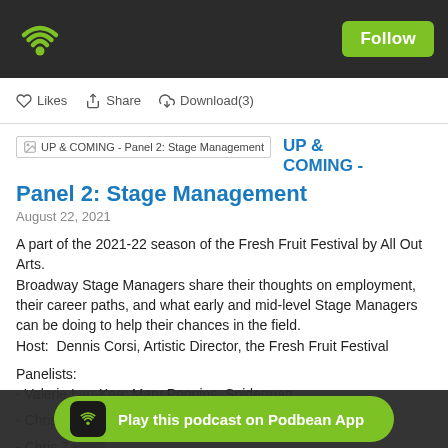UP & COMING - Panel 2: Stage Management | Follow
Likes  Share  Download(3)
[Figure (screenshot): Podcast thumbnail image with broken image icon labeled UP & COMING - Panel 2: Stage Management]
UP & COMING -
Panel 2: Stage Management
August 22, 2021
A part of the 2021-22 season of the Fresh Fruit Festival by All Out Arts.
Broadway Stage Managers share their thoughts on employment, their career paths, and what early and mid-level Stage Managers can be doing to help their chances in the field.
Host:  Dennis Corsi, Artistic Director, the Fresh Fruit Festival
Panelists:
- Valerie Lau-Kee: Mary Poppins, Spiderman . . .
- Chris Munnell: An American in Paris, War Horse . . .
- Chris Za...
- Saori Yokoo: The Inheritance, Broadway Cares, Equity Fights...
Play this podcast on Podbean App